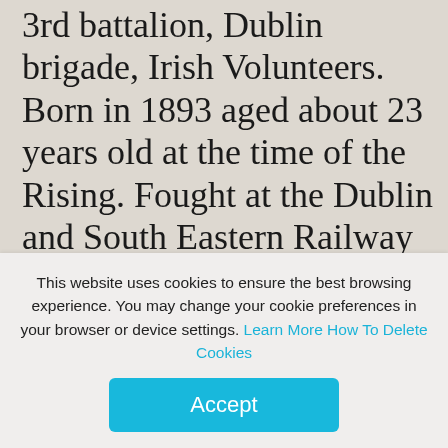3rd battalion, Dublin brigade, Irish Volunteers. Born in 1893 aged about 23 years old at the time of the Rising. Fought at the Dublin and South Eastern Railway Line between Westland Row and Lansdowne Road and Barrow Street. He joined the Volunteers in 1915. He was deported after the surrender first to Wakefield then Frongoch, he was released
This website uses cookies to ensure the best browsing experience. You may change your cookie preferences in your browser or device settings. Learn More How To Delete Cookies